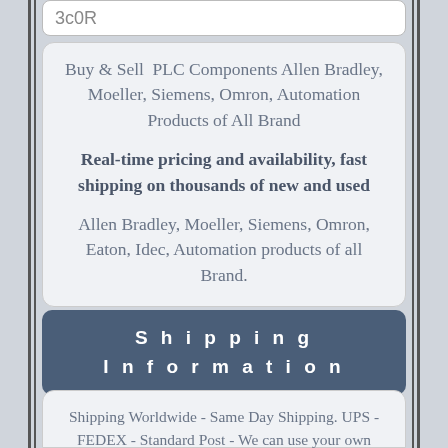3c0R
Buy & Sell PLC Components Allen Bradley, Moeller, Siemens, Omron, Automation Products of All Brand

Real-time pricing and availability, fast shipping on thousands of new and used

Allen Bradley, Moeller, Siemens, Omron, Eaton, Idec, Automation products of all Brand.
Shipping Information
Shipping Worldwide - Same Day Shipping. UPS - FEDEX - Standard Post - We can use your own shipping service.